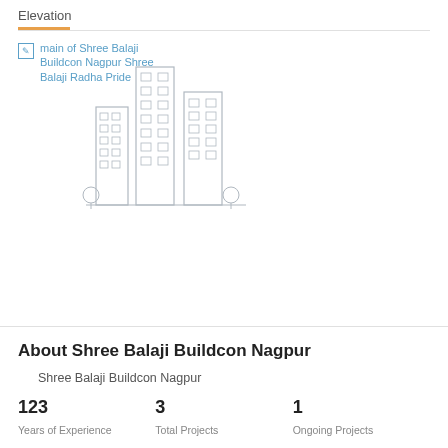Elevation
[Figure (illustration): Broken image placeholder showing 'main of Shree Balaji Buildcon Nagpur Shree Balaji Radha Pride' text in blue, with a line-art illustration of tall residential buildings with trees]
About Shree Balaji Buildcon Nagpur
Shree Balaji Buildcon Nagpur
123
Years of Experience
3
Total Projects
1
Ongoing Projects